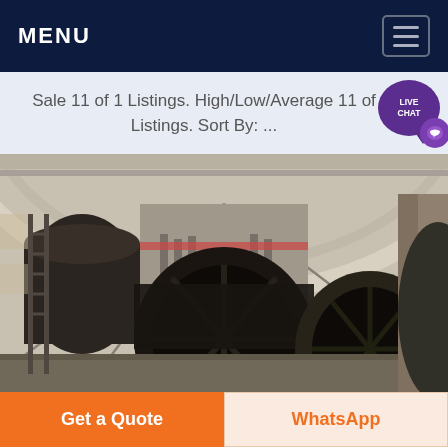MENU
Sale 11 of 1 Listings. High/Low/Average 11 of Listings. Sort By: ...
[Figure (photo): Industrial warehouse interior with large cylindrical rotary kilns/drums laid horizontally on the factory floor, visible under a large arched steel roof structure with natural light coming through skylights. Multiple large dark metal cylindrical vessels visible.]
Get a Quote
WhatsApp